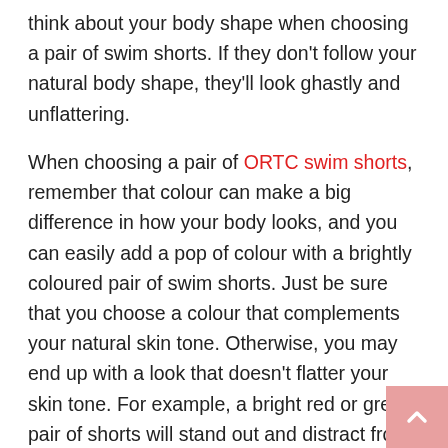think about your body shape when choosing a pair of swim shorts. If they don't follow your natural body shape, they'll look ghastly and unflattering.
When choosing a pair of ORTC swim shorts, remember that colour can make a big difference in how your body looks, and you can easily add a pop of colour with a brightly coloured pair of swim shorts. Just be sure that you choose a colour that complements your natural skin tone. Otherwise, you may end up with a look that doesn't flatter your skin tone. For example, a bright red or green pair of shorts will stand out and distract from your body shape.
Colour is another important factor when choosing a